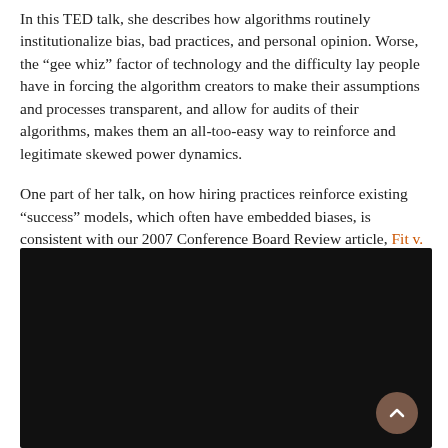In this TED talk, she describes how algorithms routinely institutionalize bias, bad practices, and personal opinion. Worse, the “gee whiz” factor of technology and the difficulty lay people have in forcing the algorithm creators to make their assumptions and processes transparent, and allow for audits of their algorithms, makes them an all-too-easy way to reinforce and legitimate skewed power dynamics.
One part of her talk, on how hiring practices reinforce existing “success” models, which often have embedded biases, is consistent with our 2007 Conference Board Review article, Fit v. Fitness.
[Figure (other): Embedded video player with a dark/black background, with a scroll-up button in the bottom-right corner.]